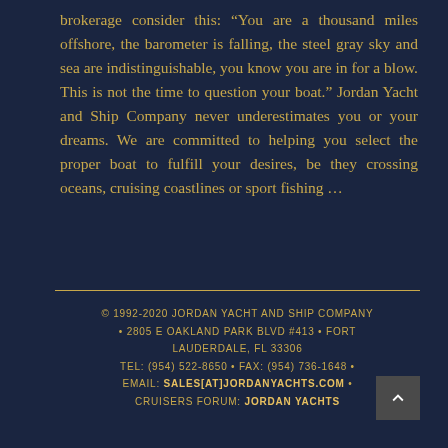brokerage consider this: “You are a thousand miles offshore, the barometer is falling, the steel gray sky and sea are indistinguishable, you know you are in for a blow. This is not the time to question your boat.” Jordan Yacht and Ship Company never underestimates you or your dreams. We are committed to helping you select the proper boat to fulfill your desires, be they crossing oceans, cruising coastlines or sport fishing …
© 1992-2020 JORDAN YACHT AND SHIP COMPANY • 2805 E OAKLAND PARK BLVD #413 • FORT LAUDERDALE, FL 33306 TEL: (954) 522-8650 • FAX: (954) 736-1648 • EMAIL: SALES[AT]JORDANYACHTS.COM • CRUISERS FORUM: JORDAN YACHTS